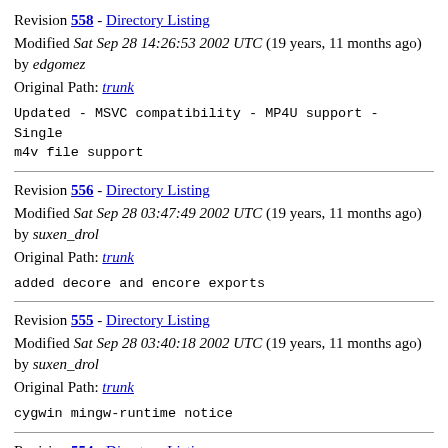Revision 558 - Directory Listing
Modified Sat Sep 28 14:26:53 2002 UTC (19 years, 11 months ago) by edgomez
Original Path: trunk
Updated - MSVC compatibility - MP4U support - Single m4v file support
Revision 556 - Directory Listing
Modified Sat Sep 28 03:47:49 2002 UTC (19 years, 11 months ago) by suxen_drol
Original Path: trunk
added decore and encore exports
Revision 555 - Directory Listing
Modified Sat Sep 28 03:40:18 2002 UTC (19 years, 11 months ago) by suxen_drol
Original Path: trunk
cygwin mingw-runtime notice
Revision 554 - Directory Listing
Modified Sat Sep 28 03:00:03 2002 UTC (19 years, 11 months ago) by suxen_drol